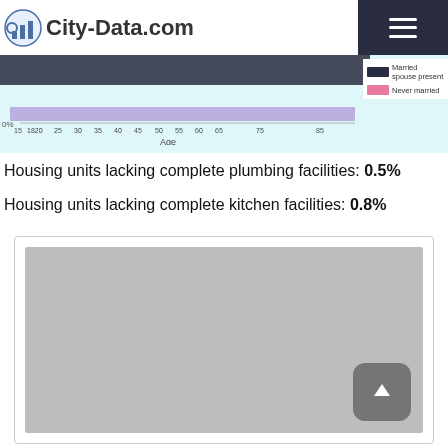City-Data.com
[Figure (continuous-plot): Partial age vs marital status chart with a purple/lavender bar spanning ages 15-85 at 0% line, with legend showing 'Married spouse present' (dark) and 'Never married' (pink). X-axis labeled Age with ticks at 15, 18, 20, 25, 30, 35, 40, 45, 50, 55, 60, 65, 75, 85.]
Housing units lacking complete plumbing facilities: 0.5%
Housing units lacking complete kitchen facilities: 0.8%
[Figure (other): Gray advertisement placeholder box with a scroll-to-top button in the bottom right corner.]